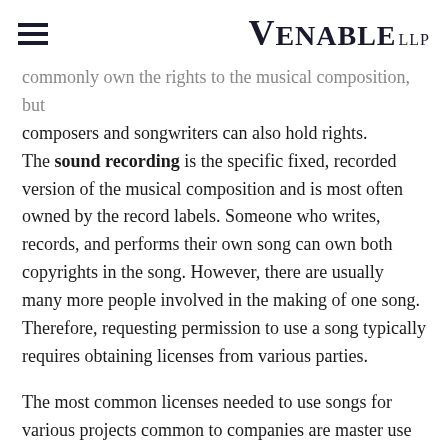VENABLE LLP
commonly own the rights to the musical composition, but composers and songwriters can also hold rights. The sound recording is the specific fixed, recorded version of the musical composition and is most often owned by the record labels. Someone who writes, records, and performs their own song can own both copyrights in the song. However, there are usually many more people involved in the making of one song. Therefore, requesting permission to use a song typically requires obtaining licenses from various parties.
The most common licenses needed to use songs for various projects common to companies are master use licenses, synchronization (sync) licenses, public